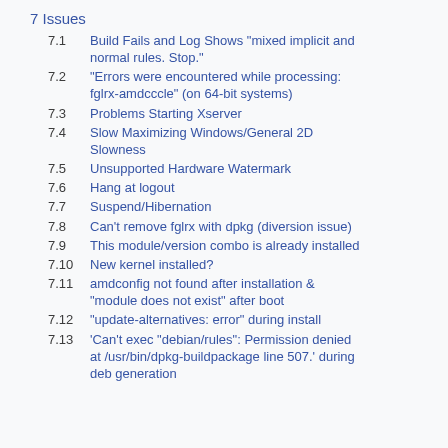7  Issues
7.1  Build Fails and Log Shows "mixed implicit and normal rules. Stop."
7.2  "Errors were encountered while processing: fglrx-amdcccle" (on 64-bit systems)
7.3  Problems Starting Xserver
7.4  Slow Maximizing Windows/General 2D Slowness
7.5  Unsupported Hardware Watermark
7.6  Hang at logout
7.7  Suspend/Hibernation
7.8  Can't remove fglrx with dpkg (diversion issue)
7.9  This module/version combo is already installed
7.10  New kernel installed?
7.11  amdconfig not found after installation & "module does not exist" after boot
7.12  "update-alternatives: error" during install
7.13  'Can't exec "debian/rules": Permission denied at /usr/bin/dpkg-buildpackage line 507.' during deb generation